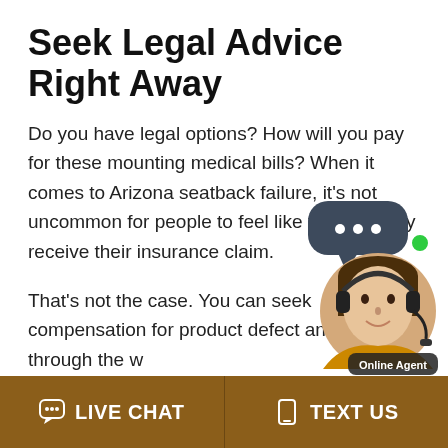Seek Legal Advice Right Away
Do you have legal options? How will you pay for these mounting medical bills? When it comes to Arizona seatback failure, it’s not uncommon for people to feel like they will only receive their insurance claim.
That’s not the case. You can seek compensation for product defect and injury through the… Hitting the seatback during a crash could… more extensive damage than if the seatba… product specifications. Seatback collapse…
[Figure (photo): Online Agent chat widget showing a woman with a headset and a speech bubble with ellipsis icon, with a green online indicator dot and label 'Online Agent']
LIVE CHAT   TEXT US